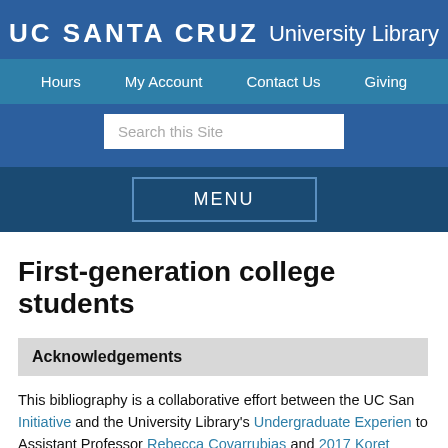UC SANTA CRUZ University Library
Hours  My Account  Contact Us  Giving
Search this Site
MENU
First-generation college students
Acknowledgements
This bibliography is a collaborative effort between the UC San... Initiative and the University Library's Undergraduate Experien... to Assistant Professor Rebecca Covarrubias and 2017 Koret...